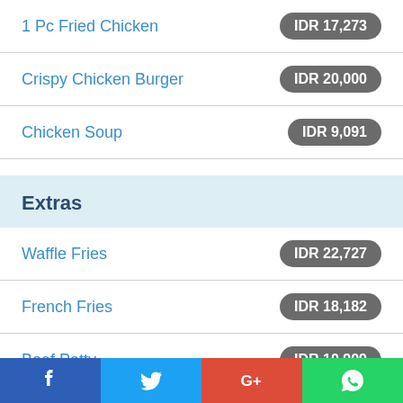1 Pc Fried Chicken — IDR 17,273
Crispy Chicken Burger — IDR 20,000
Chicken Soup — IDR 9,091
Extras
Waffle Fries — IDR 22,727
French Fries — IDR 18,182
Beef Patty — IDR 10,909
Cheese Sliced — IDR 9,091
Cheese Sauce — IDR 10,909
Thousand Island — IDR 7,273